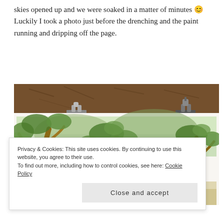skies opened up and we were soaked in a matter of minutes 😊 Luckily I took a photo just before the drenching and the paint running and dripping off the page.
[Figure (photo): A watercolour painting of trees clipped to a board with binder clips, placed on mulched ground. The painting shows brown-trunked trees with green foliage, and gravestones in the background.]
Privacy & Cookies: This site uses cookies. By continuing to use this website, you agree to their use.
To find out more, including how to control cookies, see here: Cookie Policy
Close and accept